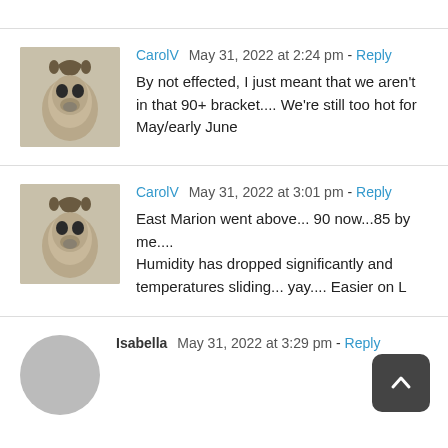CarolV  May 31, 2022 at 2:24 pm - Reply
By not effected, I just meant that we aren't in that 90+ bracket.... We're still too hot for May/early June
CarolV  May 31, 2022 at 3:01 pm - Reply
East Marion went above... 90 now...85 by me....
Humidity has dropped significantly and temperatures sliding... yay.... Easier on L
Isabella  May 31, 2022 at 3:29 pm - Reply